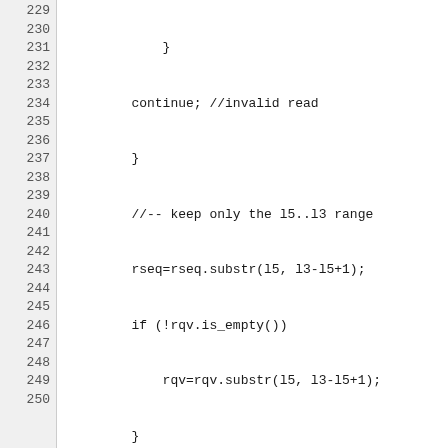Source code listing, lines 229–250, showing C++ code with adapter trimming logic including continue statements, substr calls, and nested if blocks.